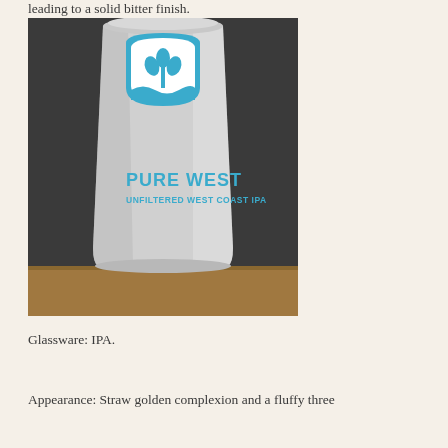leading to a solid bitter finish.
[Figure (photo): A silver/white beer can labeled 'PURE WEST UNFILTERED WEST COAST IPA' with a blue wheat/grain logo inside a semicircle arch at the top, sitting on a wooden surface against a dark background.]
Glassware: IPA.
Appearance: Straw golden complexion and a fluffy three